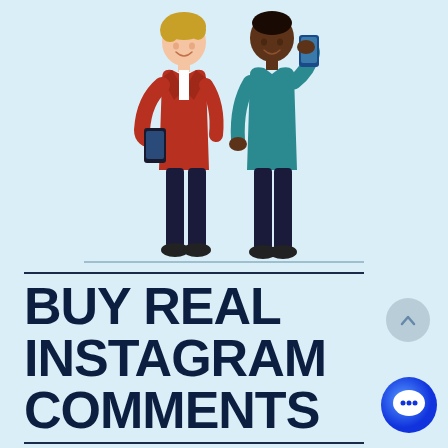[Figure (illustration): Two cartoon flat-style people standing and holding smartphones. Left person: light-skinned male with reddish-brown hair wearing a red jacket and dark pants, looking at phone. Right person: dark-skinned male with dark hair wearing a teal shirt and dark pants, holding phone up.]
BUY REAL INSTAGRAM COMMENTS